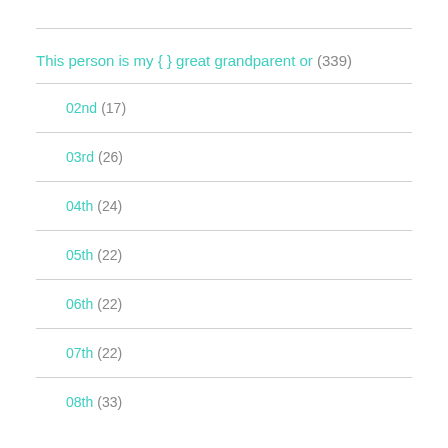This person is my { } great grandparent or (339)
02nd (17)
03rd (26)
04th (24)
05th (22)
06th (22)
07th (22)
08th (33)